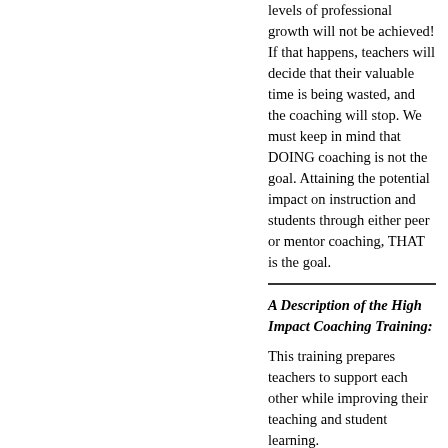levels of professional growth will not be achieved! If that happens, teachers will decide that their valuable time is being wasted, and the coaching will stop. We must keep in mind that DOING coaching is not the goal. Attaining the potential impact on instruction and students through either peer or mentor coaching, THAT is the goal.
A Description of the High Impact Coaching Training:
This training prepares teachers to support each other while improving their teaching and student learning.
In the initial part of the